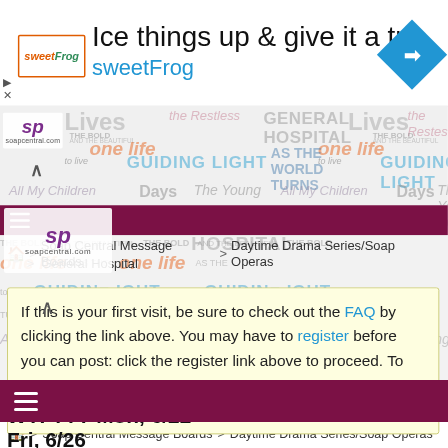[Figure (other): Advertisement banner for sweetFrog frozen yogurt. Text: 'Ice things up & give it a try' and 'sweetFrog' with brand logo and blue diamond arrow icon.]
[Figure (other): Soap opera website header banner showing logos/titles of various soap operas including General Hospital, Days, Guiding Light, As the World Turns, One Life to Live, The Young and the Restless, All My Children. SoapCentral.com logo visible.]
[Figure (other): Purple navigation bar with hamburger menu icon (three horizontal lines).]
Soap Central Message Boards > Daytime Drama Series/Soap Operas > General Hospital
If this is your first visit, be sure to check out the FAQ by clicking the link above. You may have to register before you can post: click the register link above to proceed. To start viewing messages, select the forum that you want to visit from the selection below.
WTF??? Mon, 6/22 --- Fri, 6/26